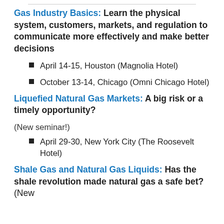Gas Industry Basics: Learn the physical system, customers, markets, and regulation to communicate more effectively and make better decisions
April 14-15, Houston (Magnolia Hotel)
October 13-14, Chicago (Omni Chicago Hotel)
Liquefied Natural Gas Markets: A big risk or a timely opportunity?
(New seminar!)
April 29-30, New York City (The Roosevelt Hotel)
Shale Gas and Natural Gas Liquids: Has the shale revolution made natural gas a safe bet? (New